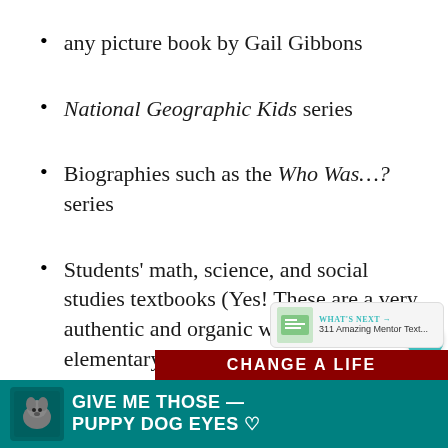any picture book by Gail Gibbons
National Geographic Kids series
Biographies such as the Who Was…? series
Students' math, science, and social studies textbooks (Yes! These are a very authentic and organic way to teach elementary students about text features…